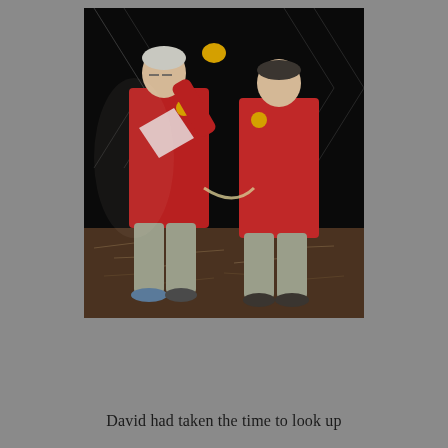[Figure (photo): Two older men wearing red jackets with yellow circular patches stand facing each other outdoors at night. One man appears to be placing something yellow on or near the other man's head. Both wear khaki/grey trousers. The ground is covered with dry leaves and straw. A chain-link fence is visible in the dark background.]
David had taken the time to look up